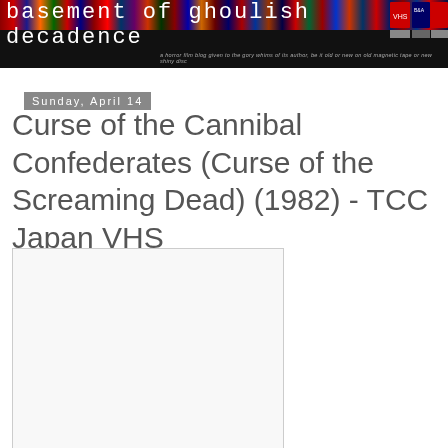[Figure (screenshot): Header banner of 'basement of ghoulish decadence' blog with colorful VHS tape strip across top and white text on black background, with italic subtitle text]
Sunday, April 14
Curse of the Cannibal Confederates (Curse of the Screaming Dead) (1982) - TCC Japan VHS
[Figure (photo): Blank/white image placeholder in a bordered box on the left side of the content area]
[Figure (photo): Blank/white area on the right side of the content area]